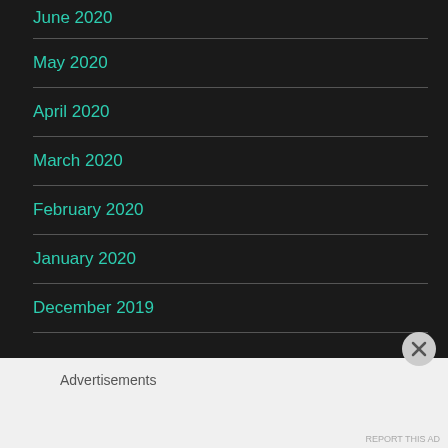June 2020
May 2020
April 2020
March 2020
February 2020
January 2020
December 2019
Advertisements
REPORT THIS AD